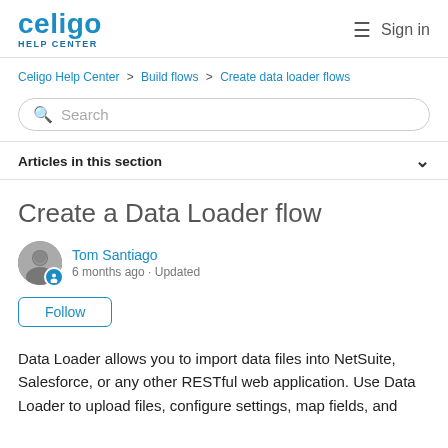celigo HELP CENTER  Sign in
Celigo Help Center > Build flows > Create data loader flows
Search
Articles in this section
Create a Data Loader flow
Tom Santiago
6 months ago · Updated
Follow
Data Loader allows you to import data files into NetSuite, Salesforce, or any other RESTful web application. Use Data Loader to upload files, configure settings, map fields, and